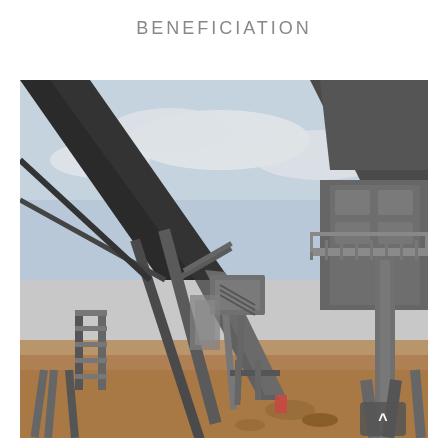BENEFICIATION
[Figure (photo): Industrial mineral beneficiation plant showing large conveyor belts, structural steel framework, screening equipment with elevated walkways and platforms, and processing machinery set on a flat arid landscape under an overcast sky.]